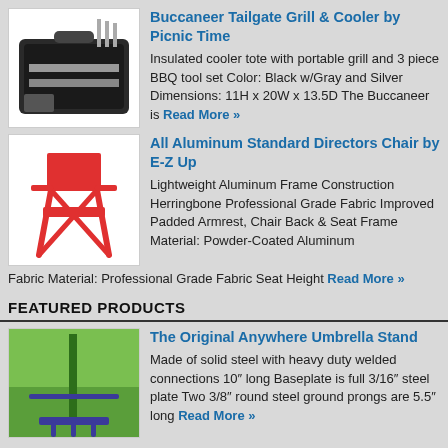Buccaneer Tailgate Grill & Cooler by Picnic Time
Insulated cooler tote with portable grill and 3 piece BBQ tool set Color: Black w/Gray and Silver Dimensions: 11H x 20W x 13.5D The Buccaneer is Read More »
All Aluminum Standard Directors Chair by E-Z Up
Lightweight Aluminum Frame Construction Herringbone Professional Grade Fabric Improved Padded Armrest, Chair Back & Seat Frame Material: Powder-Coated Aluminum Fabric Material: Professional Grade Fabric Seat Height Read More »
FEATURED PRODUCTS
The Original Anywhere Umbrella Stand
Made of solid steel with heavy duty welded connections 10″ long Baseplate is full 3/16″ steel plate Two 3/8″ round steel ground prongs are 5.5″ long Read More »
The Camping Table Portable Table With Aluminum Top by TravelChair
Dimensions (open) 27.5″ x 27.5″ x 28-34″ Dimensions (closed) 5″ x 6″ x 27.5″ Seat height 27-33″ Weight 8 lbs.